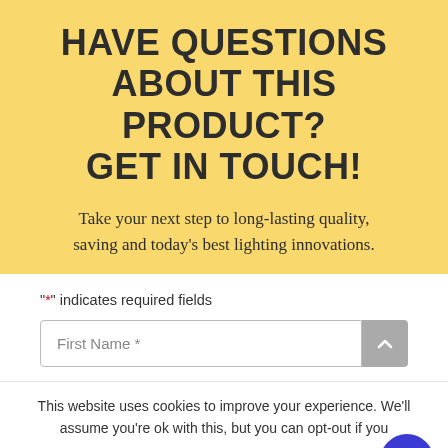HAVE QUESTIONS ABOUT THIS PRODUCT? GET IN TOUCH!
Take your next step to long-lasting quality, saving and today's best lighting innovations.
"*" indicates required fields
First Name *
This website uses cookies to improve your experience. We'll assume you're ok with this, but you can opt-out if you
Cookie Settings
ACCEPT